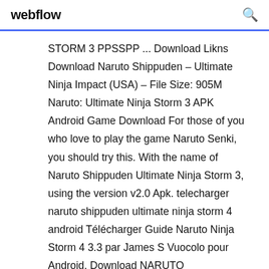webflow
STORM 3 PPSSPP ... Download Likns Download Naruto Shippuden – Ultimate Ninja Impact (USA) – File Size: 905M Naruto: Ultimate Ninja Storm 3 APK Android Game Download For those of you who love to play the game Naruto Senki, you should try this. With the name of Naruto Shippuden Ultimate Ninja Storm 3, using the version v2.0 Apk. telecharger naruto shippuden ultimate ninja storm 4 android Télécharger Guide Naruto Ninja Storm 4 3.3 par James S Vuocolo pour Android. Download NARUTO SHIPPUDEN: Ultimate Ninja STORM 3 Full Burst 1.0. Tous les meilleurs jeux pour PC, Mac et téléphones mobiles (Android, iPhone, etc. Ultimate Ninja 4, Naruto Shippuden: